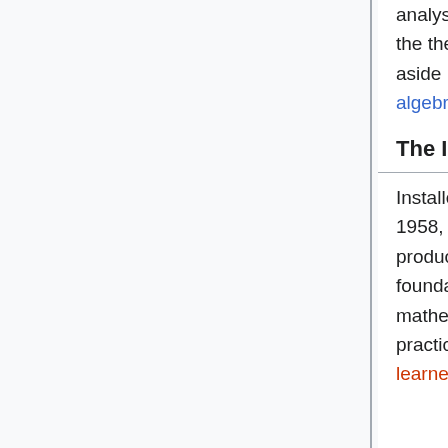analysis, from 1950 to 1953. At this time he was a leading expert in the theory of topological vector spaces. By 1957, he set this subject aside in order to work in algebraic geometry and homological algebra.
The IHÉS years
Installed at the Institut des Hautes Études Scientifiques (IHÉS) in 1958, Grothendieck attracted attention by an intense and highly productive activity of seminars (de facto working groups drafting into foundational work some of the ablest French and other mathematicians of the younger generation). Grothendieck himself practically ceased publication of papers through the conventional, learned journal route. He was, however, able to play a